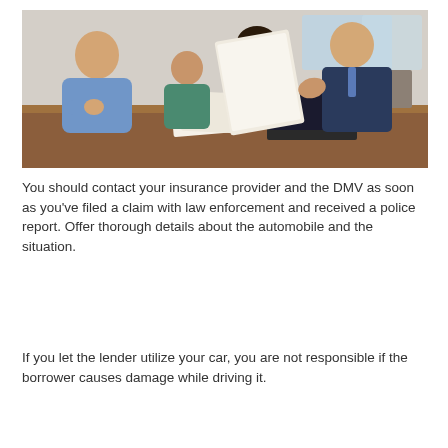[Figure (photo): A family (man, woman, and child) sitting at a wooden table with an insurance agent or financial advisor in a suit, reviewing documents together in an office setting.]
You should contact your insurance provider and the DMV as soon as you've filed a claim with law enforcement and received a police report. Offer thorough details about the automobile and the situation.
If you let the lender utilize your car, you are not responsible if the borrower causes damage while driving it.